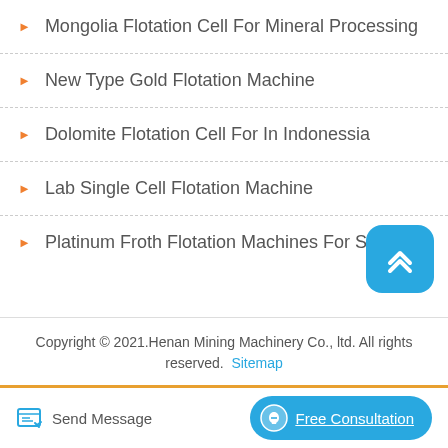Mongolia Flotation Cell For Mineral Processing
New Type Gold Flotation Machine
Dolomite Flotation Cell For In Indonessia
Lab Single Cell Flotation Machine
Platinum Froth Flotation Machines For Sale
Copyright © 2021.Henan Mining Machinery Co., ltd. All rights reserved.  Sitemap
Send Message
Free Consultation